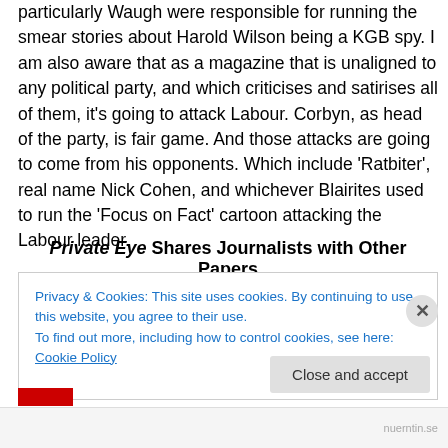particularly Waugh were responsible for running the smear stories about Harold Wilson being a KGB spy. I am also aware that as a magazine that is unaligned to any political party, and which criticises and satirises all of them, it's going to attack Labour. Corbyn, as head of the party, is fair game. And those attacks are going to come from his opponents. Which include 'Ratbiter', real name Nick Cohen, and whichever Blairites used to run the 'Focus on Fact' cartoon attacking the Labour leader.
Private Eye Shares Journalists with Other Papers
Privacy & Cookies: This site uses cookies. By continuing to use this website, you agree to their use.
To find out more, including how to control cookies, see here: Cookie Policy